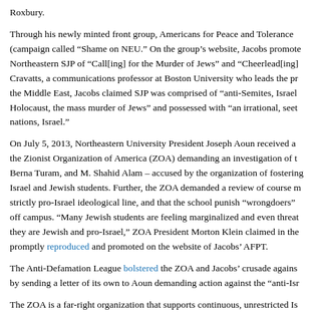Roxbury.
Through his newly minted front group, Americans for Peace and Tolerance (campaign called “Shame on NEU.” On the group’s website, Jacobs promote Northeastern SJP of “Call[ing] for the Murder of Jews” and “Cheerlead[ing] Cravatts, a communications professor at Boston University who leads the pr the Middle East, Jacobs claimed SJP was comprised of “anti-Semites, Israel Holocaust, the mass murder of Jews” and possessed with “an irrational, seet nations, Israel.”
On July 5, 2013, Northeastern University President Joseph Aoun received a the Zionist Organization of America (ZOA) demanding an investigation of t Berna Turam, and M. Shahid Alam – accused by the organization of fostering Israel and Jewish students. Further, the ZOA demanded a review of course m strictly pro-Israel ideological line, and that the school punish “wrongdoers” off campus. “Many Jewish students are feeling marginalized and even threat they are Jewish and pro-Israel,” ZOA President Morton Klein claimed in the promptly reproduced and promoted on the website of Jacobs’ AFPT.
The Anti-Defamation League bolstered the ZOA and Jacobs’ crusade agains by sending a letter of its own to Aoun demanding action against the “anti-Isr
The ZOA is a far-right organization that supports continuous, unrestricted Is annexation of the occupied West Bank. Its national Vice Chairman, Steven C